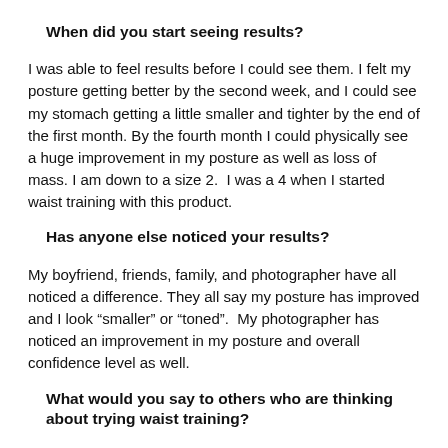When did you start seeing results?
I was able to feel results before I could see them. I felt my posture getting better by the second week, and I could see my stomach getting a little smaller and tighter by the end of the first month. By the fourth month I could physically see a huge improvement in my posture as well as loss of mass. I am down to a size 2.  I was a 4 when I started waist training with this product.
Has anyone else noticed your results?
My boyfriend, friends, family, and photographer have all noticed a difference. They all say my posture has improved and I look “smaller” or “toned”.  My photographer has noticed an improvement in my posture and overall confidence level as well.
What would you say to others who are thinking about trying waist training?